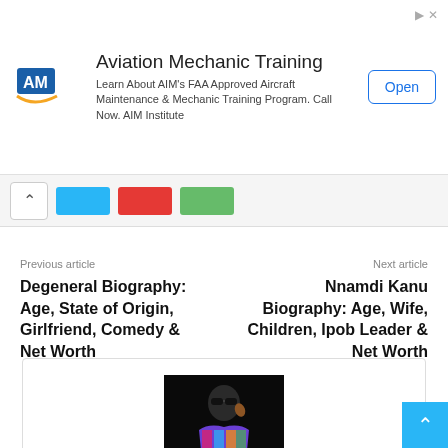[Figure (other): Advertisement banner for Aviation Mechanic Training by AIM Institute with logo, description text, and Open button]
[Figure (other): Social share bar with up arrow and colored share buttons (blue, red, green)]
Previous article
Degeneral Biography: Age, State of Origin, Girlfriend, Comedy & Net Worth
Next article
Nnamdi Kanu Biography: Age, Wife, Children, Ipob Leader & Net Worth
[Figure (photo): Author profile photo: person wearing sunglasses and colorful plaid shirt against black background]